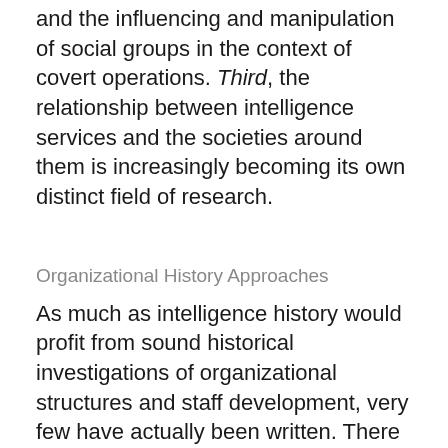and the influencing and manipulation of social groups in the context of covert operations. Third, the relationship between intelligence services and the societies around them is increasingly becoming its own distinct field of research.
Organizational History Approaches
As much as intelligence history would profit from sound historical investigations of organizational structures and staff development, very few have actually been written. There are in fact a range of comprehensive scholarly and semi-scholarly surveys of secret services, including Tim Weiner's Legacy of Ashes: The History of the CIA, Matthew M. Aid's The Secret Sentry: The Untold History of the